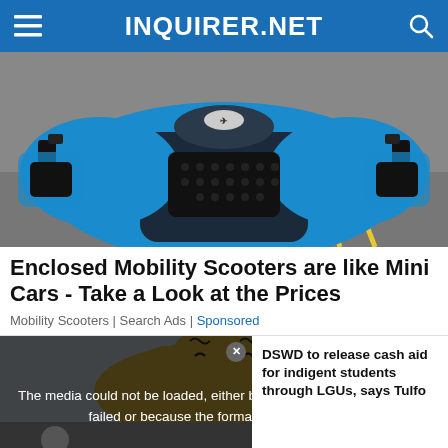INQUIRER.NET
[Figure (photo): Close-up front view of a blue enclosed mobility scooter on a road with yellow lane markings]
Enclosed Mobility Scooters are like Mini Cars - Take a Look at the Prices
Mobility Scooters | Search Ads | Sponsored
[Figure (screenshot): Video player showing error message: The media could not be loaded, either because the server or network failed or because the format is not supported. Overlaid on a cartoon character image. Lower third shows: DSWD TO RELEASE CASH AID FOR INDIGENT STUDENTS THROUGH LGUs, SAYS TULFO]
DSWD to release cash aid for indigent students through LGUs, says Tulfo